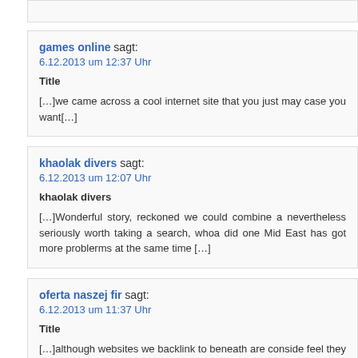games online sagt:
6.12.2013 um 12:37 Uhr
Title
[...]we came across a cool internet site that you just may case you want[...]
khaolak divers sagt:
6.12.2013 um 12:07 Uhr
khaolak divers
[...]Wonderful story, reckoned we could combine a nevertheless seriously worth taking a search, whoa did one Mid East has got more problerms at the same time [...]
oferta naszej fir sagt:
6.12.2013 um 11:37 Uhr
Title
[...]although websites we backlink to beneath are conside feel they are actually really worth a go by means of, so poss